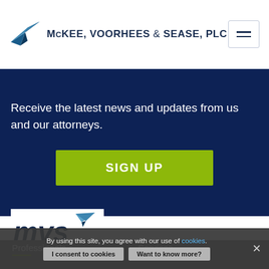McKEE, VOORHEES & SEASE, PLC
Receive the latest news and updates from us and our attorneys.
SIGN UP
[Figure (logo): MVS logo with blue paper plane icon and 'mvs' text]
By using this site, you agree with our use of cookies.
I consent to cookies
Want to know more?
Professionals
Services